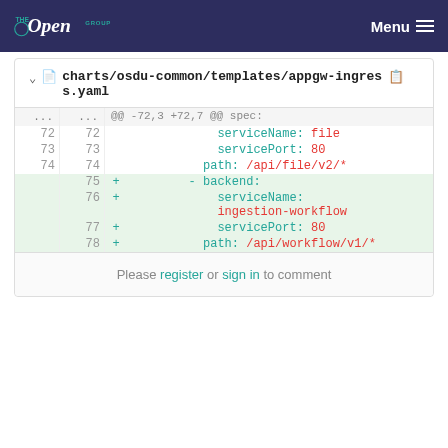The Open Group | Menu
charts/osdu-common/templates/appgw-ingress.yaml
[Figure (screenshot): Git diff view showing added lines in charts/osdu-common/templates/appgw-ingress.yaml. Lines 72-74 show unchanged context (serviceName: file, servicePort: 80, path: /api/file/v2/*). Lines 75-78 are new additions: - backend:, serviceName: ingestion-workflow, servicePort: 80, path: /api/workflow/v1/*. Diff header shows @@ -72,3 +72,7 @@ spec:]
Please register or sign in to comment